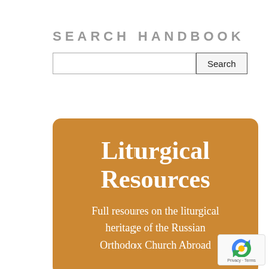SEARCH HANDBOOK
[Figure (screenshot): Search input field with a Search button]
Liturgical Resources
Full resoures on the liturgical heritage of the Russian Orthodox Church Abroad